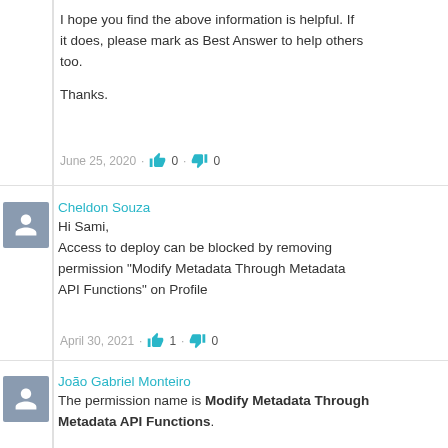I hope you find the above information is helpful. If it does, please mark as Best Answer to help others too.

Thanks.
June 25, 2020 · 👍 0 · 👎 0
Cheldon Souza
Hi Sami,
Access to deploy can be blocked by removing permission "Modify Metadata Through Metadata API Functions" on Profile
April 30, 2021 · 👍 1 · 👎 0
João Gabriel Monteiro
The permission name is Modify Metadata Through Metadata API Functions.